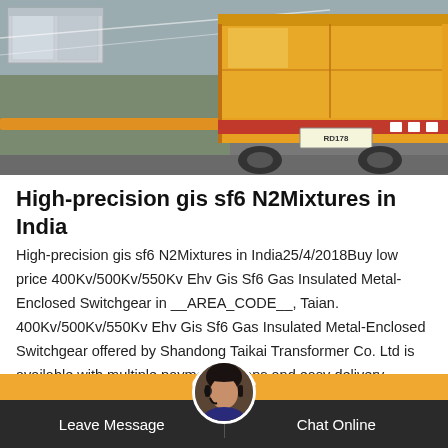[Figure (photo): Photo of a yellow truck/trailer being loaded with construction materials on a road, with gravel and wooden boxes visible]
High-precision gis sf6 N2Mixtures in India
High-precision gis sf6 N2Mixtures in India25/4/2018Buy low price 400Kv/500Kv/550Kv Ehv Gis Sf6 Gas Insulated Metal-Enclosed Switchgear in __AREA_CODE__, Taian. 400Kv/500Kv/550Kv Ehv Gis Sf6 Gas Insulated Metal-Enclosed Switchgear offered by Shandong Taikai Transformer Co. Ltd is available with multiple payment options and easy delivery.
Leave Message   Get Quote   Chat Online